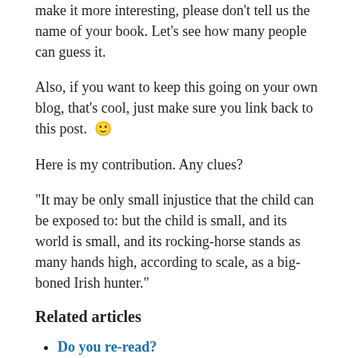make it more interesting, please don’t tell us the name of your book. Let’s see how many people can guess it.
Also, if you want to keep this going on your own blog, that’s cool, just make sure you link back to this post. 🙂
Here is my contribution. Any clues?
“It may be only small injustice that the child can be exposed to: but the child is small, and its world is small, and its rocking-horse stands as many hands high, according to scale, as a big-boned Irish hunter.”
Related articles
Do you re-read? (keystrokesandwordcounts.wordpress.com)
The Results! (lynthelazy.wordpress.com)
My Very Own Fairytake Book Review & Giveaway